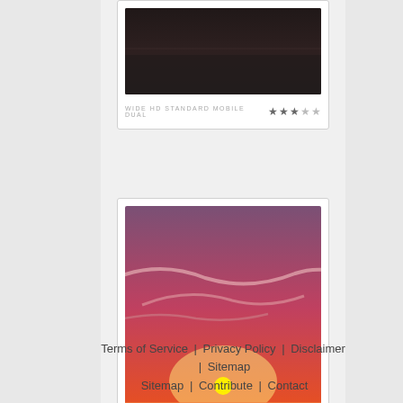[Figure (photo): Dark ocean/sea scene wallpaper thumbnail, cropped at top]
WIDE HD STANDARD MOBILE DUAL ★★★☆☆
[Figure (photo): Sunset over rocky coastline with tide pools reflecting vivid red-orange sky]
WIDE HD STANDARD MOBILE DUAL ★★★☆☆
Terms of Service | Privacy Policy | Disclaimer | Sitemap | Contribute | Contact